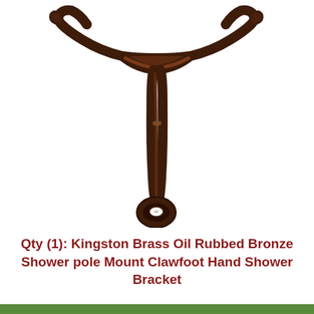[Figure (photo): A Kingston Brass Oil Rubbed Bronze shower pole mount clawfoot hand shower bracket. The bracket is T-shaped with a wide curved top cradle piece and a long vertical stem ending in a rounded mounting base with a hole for attachment. The finish is dark oil-rubbed bronze (dark brown). The image is on a white background.]
Qty (1): Kingston Brass Oil Rubbed Bronze Shower pole Mount Clawfoot Hand Shower Bracket